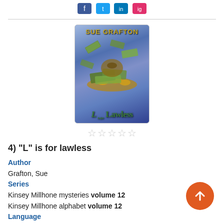[Figure (illustration): Book cover for 'L is for Lawless' by Sue Grafton, showing money flying in the air against a blue sky background, with the title at the bottom.]
[Figure (other): Five empty/outline star rating icons below the book cover.]
4) "L" is for lawless
Author
Grafton, Sue
Series
Kinsey Millhone mysteries volume 12
Kinsey Millhone alphabet volume 12
Language
English
Formats